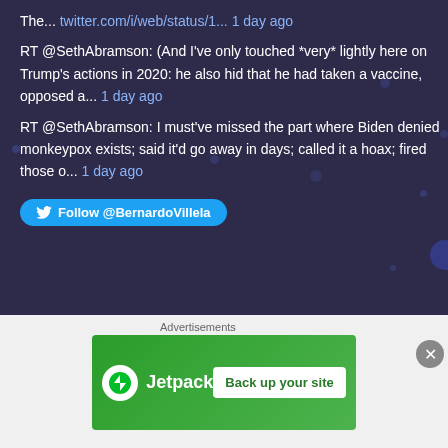The... twitter.com/i/web/status/1... 1 day ago
RT @SethAbramson: (And I've only touched *very* lightly here on Trump's actions in 2020: he also hid that he had taken a vaccine, opposed a... 1 day ago
RT @SethAbramson: I must've missed the part where Biden denied monkeypox exists; said it'd go away in days; called it a hoax; fired those o... 1 day ago
Follow @BernardoVillela
Top Posts & Pages
Catholicism and Alienation in Fellini's 8 1/2
[Figure (screenshot): Jetpack advertisement banner with green background showing Jetpack logo and 'Back up your site' button]